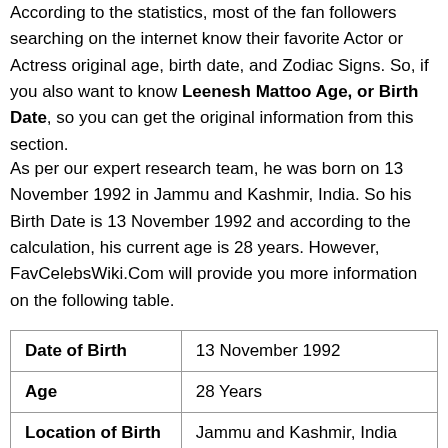According to the statistics, most of the fan followers searching on the internet know their favorite Actor or Actress original age, birth date, and Zodiac Signs. So, if you also want to know Leenesh Mattoo Age, or Birth Date, so you can get the original information from this section.
As per our expert research team, he was born on 13 November 1992 in Jammu and Kashmir, India. So his Birth Date is 13 November 1992 and according to the calculation, his current age is 28 years. However, FavCelebsWiki.Com will provide you more information on the following table.
| Date of Birth | 13 November 1992 |
| Age | 28 Years |
| Location of Birth | Jammu and Kashmir, India |